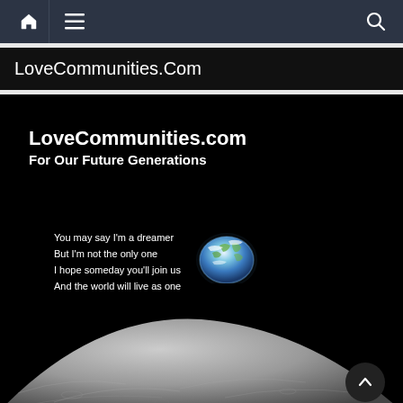Navigation bar with home, menu, and search icons
LoveCommunities.Com
[Figure (photo): Earthrise photo taken from the moon surface showing Earth rising above the lunar horizon against black space, with overlaid text: 'LoveCommunities.com / For Our Future Generations' and quote 'You may say I'm a dreamer / But I'm not the only one / I hope someday you'll join us / And the world will live as one']